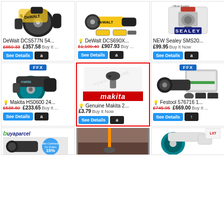[Figure (photo): DeWalt DCS577N circular saw product photo]
DeWalt DCS577N 54...
£859.33 £357.58 Buy It ...
[Figure (photo): DeWalt DCS690X circular saw with batteries product photo]
DeWalt DCS690X...
£1,100.40 £907.93 Buy ...
[Figure (photo): NEW Sealey SMS20 product photo with Sealey Official Supplier logo]
NEW Sealey SMS20...
£99.95 Buy It Now
[Figure (photo): Makita HS0600 circular saw product photo with FFX badge]
Makita HS0600 24...
£538.80 £233.65 Buy It ...
[Figure (photo): Genuine Makita 2... small part/bolt on white background with Makita red logo, highlighted with red border]
Genuine Makita 2...
£3.79 Buy It Now
[Figure (photo): Festool 576716 track saw kit product photo with FFX badge]
Festool 576716 1...
£745.95 £669.00 Buy It ...
[Figure (photo): Bottom row: buyaparcel branded tool, garden tool in use, Makita cordless saw]
buyaparcel
Max Cashback On Orders 15%